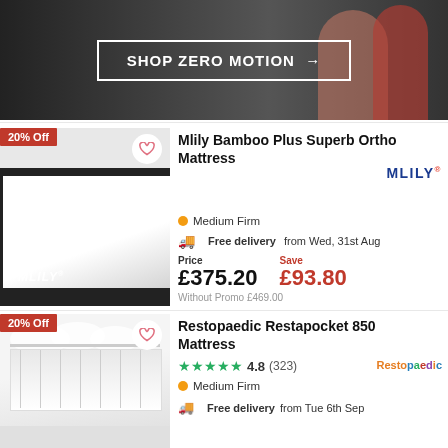[Figure (photo): Hero banner with couple on dark background and 'SHOP ZERO MOTION →' button]
[Figure (photo): Mlily Bamboo Plus Superb Ortho Mattress product image with 20% Off badge and heart icon]
Mlily Bamboo Plus Superb Ortho Mattress
Medium Firm
Free delivery from Wed, 31st Aug
Price £375.20  Save £93.80  Without Promo £469.00
[Figure (photo): Restopaedic Restapocket 850 Mattress product image with 20% Off badge and heart icon]
Restopaedic Restapocket 850 Mattress
4.8 (323)
Medium Firm
Free delivery from Tue 6th Sep